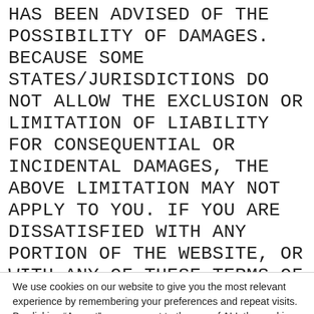HAS BEEN ADVISED OF THE POSSIBILITY OF DAMAGES. BECAUSE SOME STATES/JURISDICTIONS DO NOT ALLOW THE EXCLUSION OR LIMITATION OF LIABILITY FOR CONSEQUENTIAL OR INCIDENTAL DAMAGES, THE ABOVE LIMITATION MAY NOT APPLY TO YOU. IF YOU ARE DISSATISFIED WITH ANY PORTION OF THE WEBSITE, OR WITH ANY OF THESE TERMS OF USE, YOUR SOLE AND EXCLUSIVE REMEDY IS TO DISCONTINUE
We use cookies on our website to give you the most relevant experience by remembering your preferences and repeat visits. By clicking “Accept”, you consent to the use of ALL the cookies.
Do not sell my personal information.
Cookie settings
ACCEPT